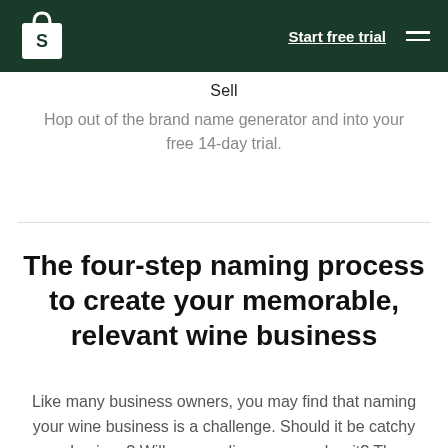[Figure (logo): Shopify logo (white shopping bag with S) in dark green navigation bar with 'Start free trial' link and hamburger menu]
Sell
Hop out of the brand name generator and into your free 14-day trial.
The four-step naming process to create your memorable, relevant wine business
Like many business owners, you may find that naming your wine business is a challenge. Should it be catchy and unique? Will your audience remember it? The